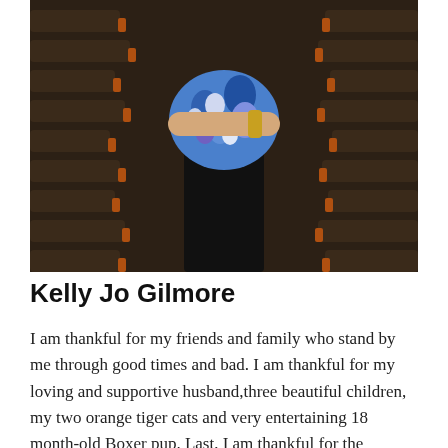[Figure (photo): A woman in a blue floral top and black pants standing in front of rows of brown theater/auditorium seats, arms crossed.]
Kelly Jo Gilmore
I am thankful for my friends and family who stand by me through good times and bad. I am thankful for my loving and supportive husband,three beautiful children, my two orange tiger cats and very entertaining 18 month-old Boxer pup. Last, I am thankful for the opportunity to work at the TCA with such talented